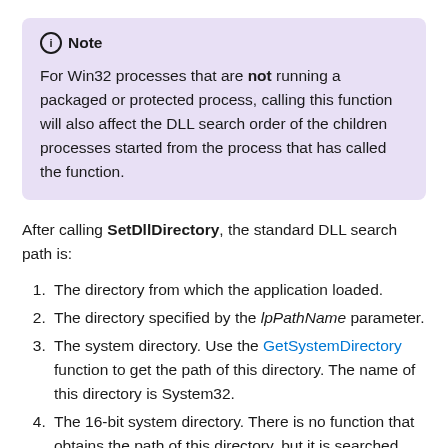Note — For Win32 processes that are not running a packaged or protected process, calling this function will also affect the DLL search order of the children processes started from the process that has called the function.
After calling SetDllDirectory, the standard DLL search path is:
1. The directory from which the application loaded.
2. The directory specified by the lpPathName parameter.
3. The system directory. Use the GetSystemDirectory function to get the path of this directory. The name of this directory is System32.
4. The 16-bit system directory. There is no function that obtains the path of this directory, but it is searched. The name of this directory is System.